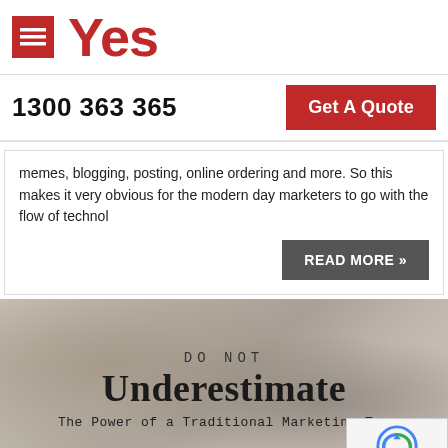Yes
1300 363 365
Get A Quote
memes, blogging, posting, online ordering and more. So this makes it very obvious for the modern day marketers to go with the flow of technol
READ MORE »
[Figure (photo): Blurred background photo of a desk with a person writing, overlaid with text: DO NOT Underestimate The Power of a Traditional Marketing Too]
DO NOT Underestimate The Power of a Traditional Marketing Too